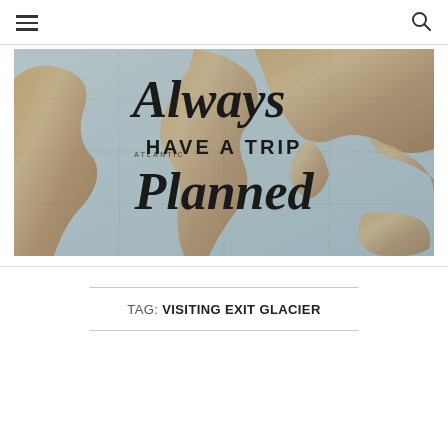navigation header with hamburger menu and search icon
[Figure (illustration): Vintage world map banner image with cursive and bold text overlay reading 'Always Have a Trip Planned']
TAG: VISITING EXIT GLACIER